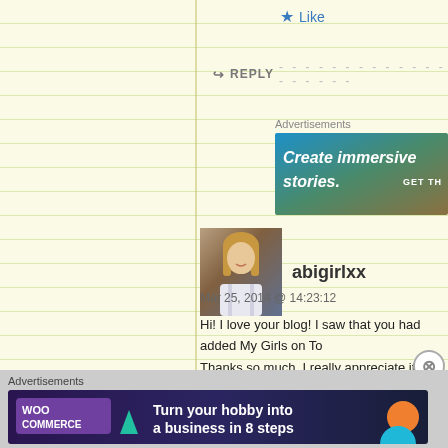★ Like
↪ REPLY
Advertisements
[Figure (screenshot): Advertisement banner: 'Create immersive stories. GET TH...' with blue-green gradient background]
[Figure (photo): Avatar photo of a young woman with long blonde hair wearing a white top]
abigirlxx
Mar 25, 2014 @ 14:23:12
Hi! I love your blog! I saw that you had added My Girls on To... Thanks so much, I really appreciate it! 🙂 xxx
★ Liked by 1 person
↪ REPLY
Advertisements
[Figure (screenshot): WooCommerce advertisement banner: 'Turn your hobby into a business in 8 steps' with dark purple background, teal triangle, orange circle]